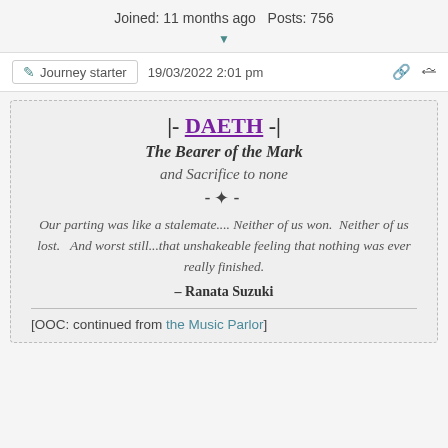Joined: 11 months ago  Posts: 756
Journey starter  19/03/2022 2:01 pm
|- DAETH -|
The Bearer of the Mark
and Sacrifice to none
-❊-
Our parting was like a stalemate.... Neither of us won.  Neither of us lost.   And worst still...that unshakeable feeling that nothing was ever really finished.
– Ranata Suzuki
[OOC: continued from the Music Parlor]